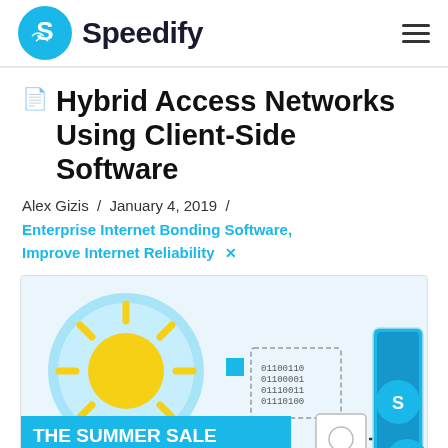Speedify
Hybrid Access Networks Using Client-Side Software
Alex Gizis / January 4, 2019 /
Enterprise Internet Bonding Software, Improve Internet Reliability
[Figure (screenshot): Speedify promotional image showing a summer sale advertisement with a sun graphic, binary code, a Speedify-branded tablet device, and a chat bubble icon. Text reads 'THE SUMMER SALE' and 'k to save 15% on yearly plans'.]